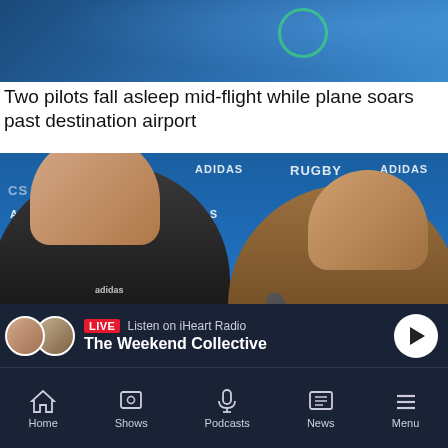[Figure (photo): Partial top image, blue background with green circle outline, appears to be a cropped app screenshot header]
Two pilots fall asleep mid-flight while plane soars past destination airport
[Figure (photo): Press conference photo of two men, one in black All Blacks rugby kit (adidas) and one in a brown sweater, seated at a table with New Zealand Rugby and adidas sponsor backdrop. Microphones visible on table.]
John MacDonald: Question - Is NZ Rugby a disaster or a disaster?
[Figure (screenshot): Live radio banner showing two presenter avatars, LIVE badge in red, 'Listen on iHeart Radio' text, 'The Weekend Collective' show name, and a white circular play button on dark navy background]
Home  Shows  Podcasts  News  Menu